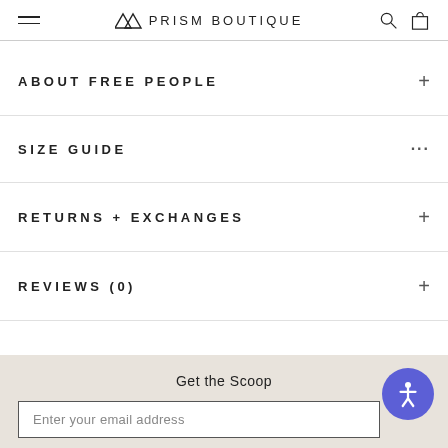PRISM BOUTIQUE
ABOUT FREE PEOPLE
SIZE GUIDE
RETURNS + EXCHANGES
REVIEWS (0)
Get the Scoop
Enter your email address